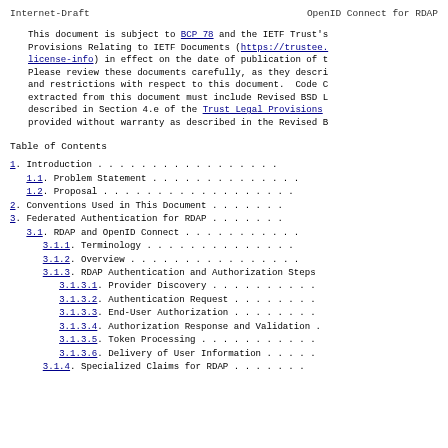Internet-Draft          OpenID Connect for RDAP
This document is subject to BCP 78 and the IETF Trust's Legal Provisions Relating to IETF Documents (https://trustee.ietf.org/license-info) in effect on the date of publication of this document. Please review these documents carefully, as they describe your rights and restrictions with respect to this document. Code Components extracted from this document must include Revised BSD License text as described in Section 4.e of the Trust Legal Provisions and are provided without warranty as described in the Revised BSD License.
Table of Contents
1. Introduction
1.1. Problem Statement
1.2. Proposal
2. Conventions Used in This Document
3. Federated Authentication for RDAP
3.1. RDAP and OpenID Connect
3.1.1. Terminology
3.1.2. Overview
3.1.3. RDAP Authentication and Authorization Steps
3.1.3.1. Provider Discovery
3.1.3.2. Authentication Request
3.1.3.3. End-User Authorization
3.1.3.4. Authorization Response and Validation
3.1.3.5. Token Processing
3.1.3.6. Delivery of User Information
3.1.4. Specialized Claims for RDAP